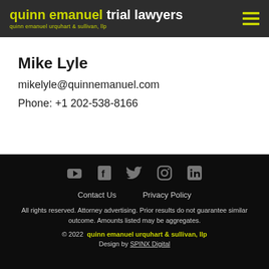quinn emanuel trial lawyers / quinn emanuel urquhart & sullivan, llp
Mike Lyle
mikelyle@quinnemanuel.com
Phone: +1 202-538-8166
[Figure (other): Social media icons: YouTube, Facebook, Twitter, Instagram, LinkedIn]
Contact Us    Privacy Policy
All rights reserved. Attorney advertising. Prior results do not guarantee similar outcome. Amounts listed may be aggregates.
© 2022  quinn emanuel urquhart & sullivan, llp
Design by SPINX Digital